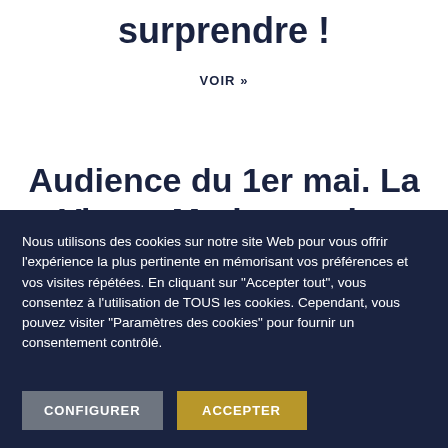surprendre !
VOIR »
Audience du 1er mai. La Vierge Marie et saint Joseph
Nous utilisons des cookies sur notre site Web pour vous offrir l'expérience la plus pertinente en mémorisant vos préférences et vos visites répétées. En cliquant sur "Accepter tout", vous consentez à l'utilisation de TOUS les cookies. Cependant, vous pouvez visiter "Paramètres des cookies" pour fournir un consentement contrôlé.
CONFIGURER
ACCEPTER